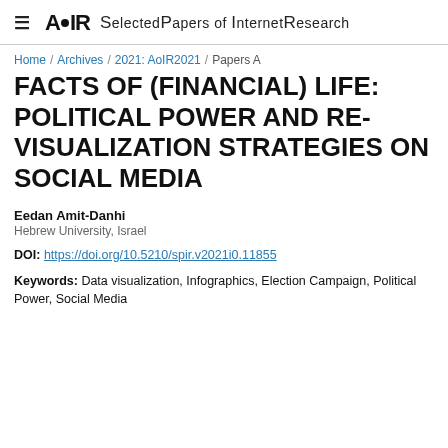AoIR Selected Papers of Internet Research
Home / Archives / 2021: AoIR2021 / Papers A
FACTS OF (FINANCIAL) LIFE: POLITICAL POWER AND RE-VISUALIZATION STRATEGIES ON SOCIAL MEDIA
Eedan Amit-Danhi
Hebrew University, Israel
DOI: https://doi.org/10.5210/spir.v2021i0.11855
Keywords: Data visualization, Infographics, Election Campaign, Political Power, Social Media